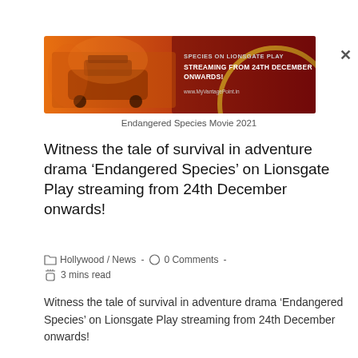[Figure (illustration): Movie banner ad for Endangered Species 2021 on Lionsgate Play. Dark red background with a vehicle scene. Text reads: 'SPECIES ON LIONSGATE PLAY STREAMING FROM 24TH DECEMBER ONWARDS! www.MyVantagePoint.in']
Endangered Species Movie 2021
Witness the tale of survival in adventure drama ‘Endangered Species’ on Lionsgate Play streaming from 24th December onwards!
Hollywood / News - 0 Comments - 3 mins read
Witness the tale of survival in adventure drama ‘Endangered Species’ on Lionsgate Play streaming from 24th December onwards!